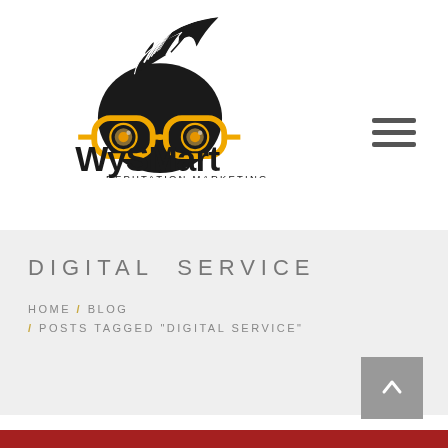[Figure (logo): WySMart Reputation Marketing logo — black cartoon hair/face with orange glasses, bold black 'WySMart' text, smaller 'REPUTATION MARKETING' underneath]
DIGITAL SERVICE
HOME / BLOG / POSTS TAGGED "DIGITAL SERVICE"